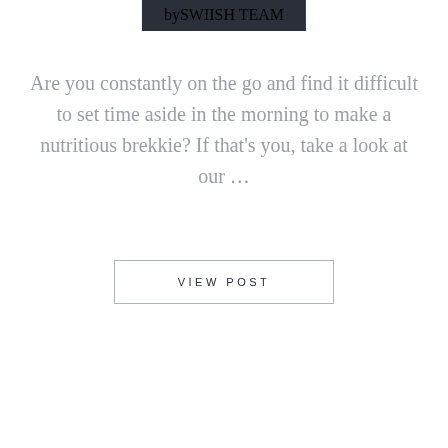by SWIISH TEAM
Are you constantly on the go and find it difficult to set time aside in the morning to make a nutritious brekkie? If that’s you, take a look at our …
VIEW POST